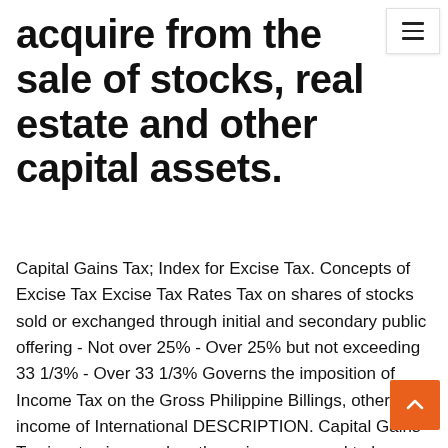acquire from the sale of stocks, real estate and other capital assets.
Capital Gains Tax; Index for Excise Tax. Concepts of Excise Tax Excise Tax Rates Tax on shares of stocks sold or exchanged through initial and secondary public offering - Not over 25% - Over 25% but not exceeding 33 1/3% - Over 33 1/3% Governs the imposition of Income Tax on the Gross Philippine Billings, other income of International DESCRIPTION. Capital Gains Tax is a tax imposed on the gains presumed to have been realized by the seller from the sale, exchange, or other disposition of capital assets located in the Philippines, including pacto de retro sales and other forms of conditional sale. According to the Philippine Tax Code, Capital Gains Tax is a tax that is imposed on earnings that the seller has gained from the of capital assets. Capital Gains Tax is charged at a flat tax rate